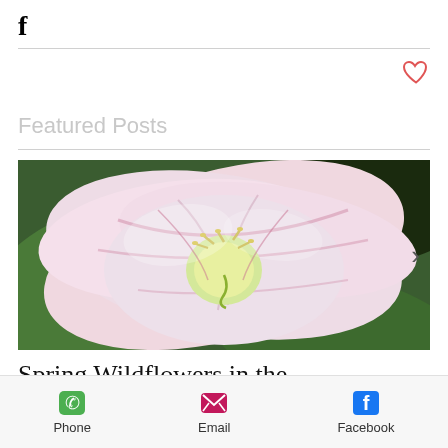[Figure (logo): Facebook 'f' logo icon in bold black]
[Figure (illustration): Red outlined heart icon (like/favorite button)]
Featured Posts
[Figure (photo): Close-up photograph of a pink and white trillium wildflower with yellow stamens and green leaves in the background]
Spring Wildflowers in the
[Figure (infographic): Bottom navigation bar with Phone (green phone icon), Email (pink envelope icon), Facebook (blue Facebook icon)]